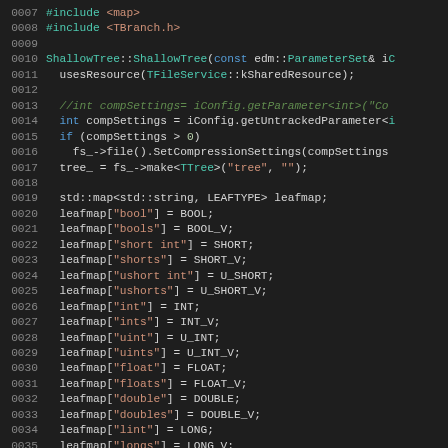Source code listing: ShallowTree constructor, lines 0007-0036. C++ code with syntax highlighting showing #include directives, constructor definition, compression settings, TTree creation, and leafmap initialization.